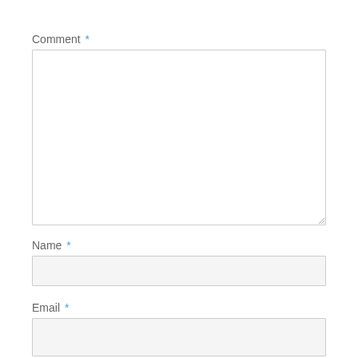Comment *
[Figure (screenshot): Large empty textarea input box with a resize handle in the bottom-right corner, white background, light gray border]
Name *
[Figure (screenshot): Single-line text input box with light gray background and light gray border]
Email *
[Figure (screenshot): Single-line text input box with light gray background and light gray border, partially visible at bottom]